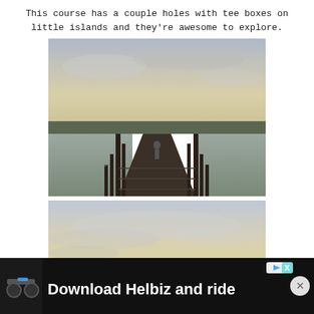This course has a couple holes with tee boxes on little islands and they're awesome to explore.
[Figure (photo): A wooden boardwalk/bridge extending over calm water toward a small island, with a person visible mid-way, houses and trees in the background, overcast sky.]
[Figure (photo): Landscape photo showing a wide sky with wispy clouds, green land area in the distance, taken at dusk or dawn.]
[Figure (photo): Advertisement banner: Download Helbiz and ride, showing a scooter handlebar image on dark background.]